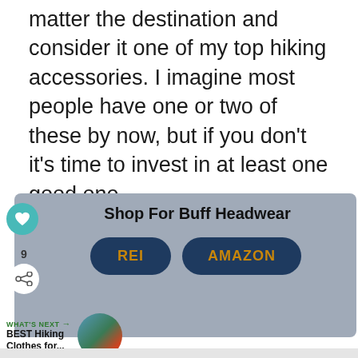matter the destination and consider it one of my top hiking accessories. I imagine most people have one or two of these by now, but if you don't it's time to invest in at least one good one.
[Figure (infographic): Shop widget for Buff Headwear with heart/like button, share count of 9, share icon, title 'Shop For Buff Headwear', and two buttons: REI and AMAZON]
WHAT'S NEXT → BEST Hiking Clothes for...